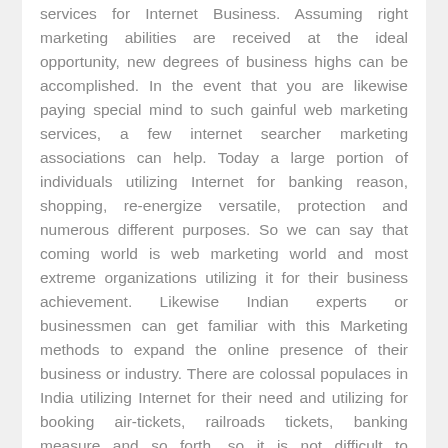services for Internet Business. Assuming right marketing abilities are received at the ideal opportunity, new degrees of business highs can be accomplished. In the event that you are likewise paying special mind to such gainful web marketing services, a few internet searcher marketing associations can help. Today a large portion of individuals utilizing Internet for banking reason, shopping, re-energize versatile, protection and numerous different purposes. So we can say that coming world is web marketing world and most extreme organizations utilizing it for their business achievement. Likewise Indian experts or businessmen can get familiar with this Marketing methods to expand the online presence of their business or industry. There are colossal populaces in India utilizing Internet for their need and utilizing for booking air-tickets, railroads tickets, banking measure and so forth, so it is not difficult to approaches or reach a large portion of individuals in part of time for organizations' products and mindful customers rapidly and successfully.